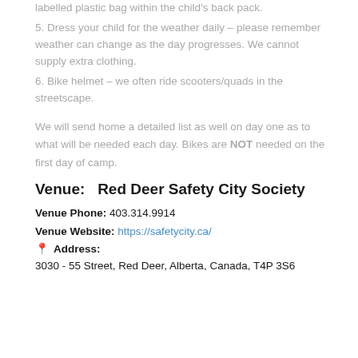labelled plastic bag within the child's back pack.
5. Dress your child for the weather daily – please remember weather can change as the day progresses. We cannot supply extra clothing.
6. Bike helmet – we often ride scooters/quads in the streetscape.
We will send home a detailed list as well on day one as to what will be needed each day. Bikes are NOT needed on the first day of camp.
Venue:   Red Deer Safety City Society
Venue Phone: 403.314.9914
Venue Website: https://safetycity.ca/
Address:
3030 - 55 Street, Red Deer, Alberta, Canada, T4P 3S6